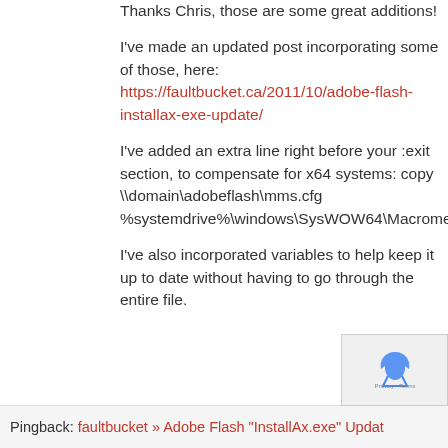[Figure (photo): Partial avatar/profile photo of a person in a blue shirt, cropped at top-left corner]
Thanks Chris, those are some great additions!
I've made an updated post incorporating some of those, here: https://faultbucket.ca/2011/10/adobe-flash-installax-exe-update/
I've added an extra line right before your :exit section, to compensate for x64 systems: copy \\domain\adobeflash\mms.cfg %systemdrive%\windows\SysWOW64\Macromed\Flash
I've also incorporated variables to help keep it up to date without having to go through the entire file.
Pingback: faultbucket » Adobe Flash "InstallAx.exe" Update